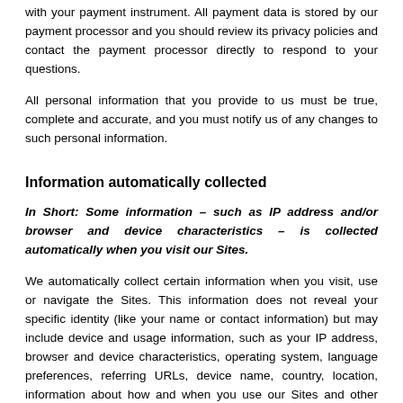with your payment instrument. All payment data is stored by our payment processor and you should review its privacy policies and contact the payment processor directly to respond to your questions.
All personal information that you provide to us must be true, complete and accurate, and you must notify us of any changes to such personal information.
Information automatically collected
In Short: Some information – such as IP address and/or browser and device characteristics – is collected automatically when you visit our Sites.
We automatically collect certain information when you visit, use or navigate the Sites. This information does not reveal your specific identity (like your name or contact information) but may include device and usage information, such as your IP address, browser and device characteristics, operating system, language preferences, referring URLs, device name, country, location, information about how and when you use our Sites and other technical information. This information is primarily needed to maintain the security and operation of our Sites, and for our internal analytics and reporting purposes.